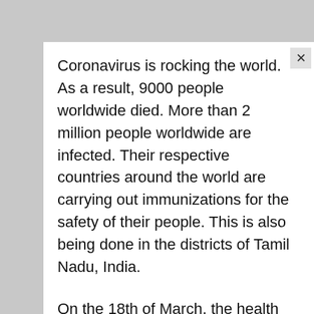Coronavirus is rocking the world. As a result, 9000 people worldwide died. More than 2 million people worldwide are infected. Their respective countries around the world are carrying out immunizations for the safety of their people. This is also being done in the districts of Tamil Nadu, India.
On the 18th of March, the health department in the district of Coimbatore engaged in preventive measures for the CoronaVirus pandemic situation. Healer Bhaskar released audio stating an alternative treatment for the CoVid. In that